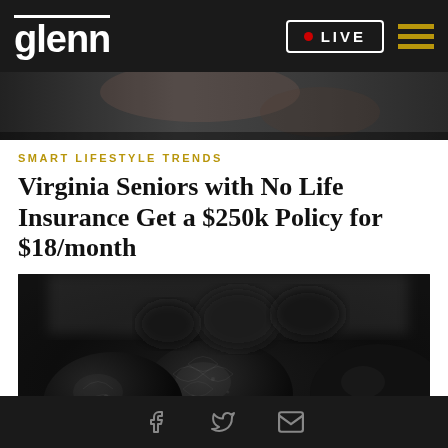glenn | LIVE
[Figure (photo): Top cropped photo showing dark textured background, partially visible]
SMART LIFESTYLE TRENDS
Virginia Seniors with No Life Insurance Get a $250k Policy for $18/month
[Figure (photo): Close-up photo of dark black textured organic objects (dried fruits or seeds) on white background]
Social icons: Facebook, Twitter, Email